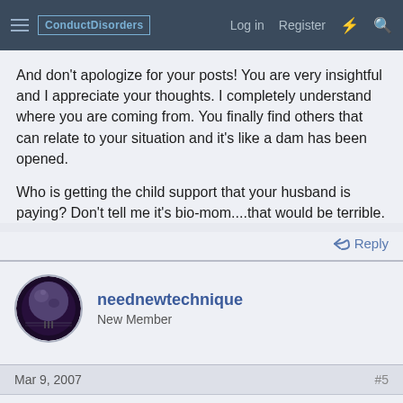ConductDisorders | Log in | Register
And don't apologize for your posts! You are very insightful and I appreciate your thoughts. I completely understand where you are coming from. You finally find others that can relate to your situation and it's like a dam has been opened.

Who is getting the child support that your husband is paying? Don't tell me it's bio-mom....that would be terrible.
Reply
neednewtechnique
New Member
Mar 9, 2007
#5
No, and this is actually a really interesting and somewhat "magical" occurance that has baffled me since all of this